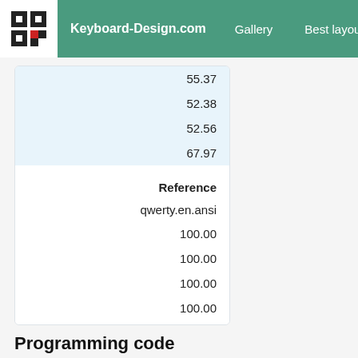Keyboard-Design.com | Gallery | Best layouts | Too...
|  |  |
| --- | --- |
|  | 55.37 |
|  | 52.38 |
|  | 52.56 |
|  | 67.97 |
| Reference |  |
| qwerty.en.ansi |  |
|  | 100.00 |
|  | 100.00 |
|  | 100.00 |
|  | 100.00 |
Programming code
| Rank |  |
| --- | --- |
| Layout |  |